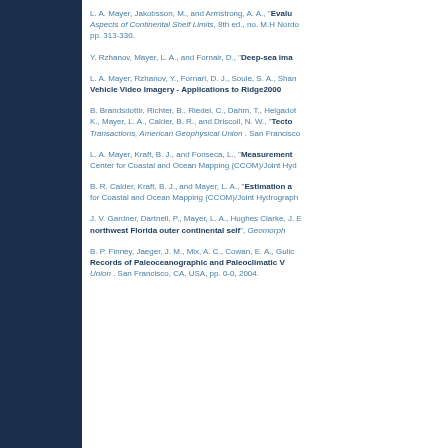L. A. Mayer, Jakobsson, M., and Armstrong, A. A., "Evaluating..." Aspects of Continental Shelf Limits, 8th ed., no. M.H Nordo..., pp. 313-330.
Y. Rzhanov, Mayer, L. A., and Fornair, D., "Deep-sea ima..."
L. A. Mayer, Rzhanov, Y., Fornari, D. J., Soule, S. A., Shan... "Vehicle Video Imagery - Applications to Ridge2000..."
B. Brandsdottir, Richter, B., Riedel, C., Dahm, T., Helgadot... K., Mayer, L. A., Calder, B. R., and Driscoll, N. W., "Tecto..." Transactions, American Geophysical Union. San Francisco...
L. A. Mayer, Kraft, B. J., and Fonseca, L., "Measurements..." Center for Coastal and Ocean Mapping (CCOM)/Joint Hyd...
B. R. Calder, Kraft, B. J., and Mayer, L. A., "Estimation a..." for Coastal and Ocean Mapping (CCOM)/Joint Hydrograph...
J. V. Gardner, Dartnell, P., Mayer, L. A., Hughes Clarke, J. E... "northwest Florida outer continental self", Geomorph...
B. P. Finney, Jaeger, J. M., Mix, A. C., Cowan, E. A., Gulic... "Records of Paleoceanographic and Paleoclimatic V..." Union. San Francisco, CA, USA, pp. 0-0, 2004.